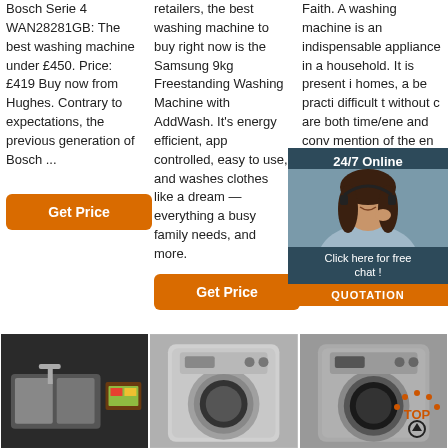Bosch Serie 4 WAN28281GB: The best washing machine under £450. Price: £419 Buy now from Hughes. Contrary to expectations, the previous generation of Bosch ...
Get Price
retailers, the best washing machine to buy right now is the Samsung 9kg Freestanding Washing Machine with AddWash. It's energy efficient, app controlled, easy to use, and washes clothes like a dream — everything a busy family needs, and more.
Get Price
Faith. A washing machine is an indispensable appliance in a household. It is present i homes, a be practi difficult t without c are both time/ene and conv mention of the en benefits.
Get Price
[Figure (infographic): Chat widget overlay with '24/7 Online' header, woman with headset photo, 'Click here for free chat!' text, and orange QUOTATION button]
[Figure (photo): Kitchen sink and appliances on dark background]
[Figure (photo): Silver front-loading washing machine]
[Figure (photo): Silver/dark front-loading washing machine with top-arrow icon overlay]